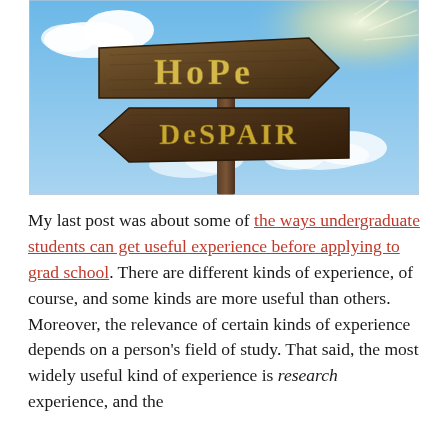[Figure (photo): A wooden signpost against a blue sky with clouds, showing two arrow-shaped signs. The top sign points right and reads 'HoPe' in large gold/yellow lettering. The bottom sign points left and reads 'DeSPAIR' in large gold/yellow lettering.]
My last post was about some of the ways undergraduate students can get useful experience before applying to grad school. There are different kinds of experience, of course, and some kinds are more useful than others. Moreover, the relevance of certain kinds of experience depends on a person's field of study. That said, the most widely useful kind of experience is research experience, and the